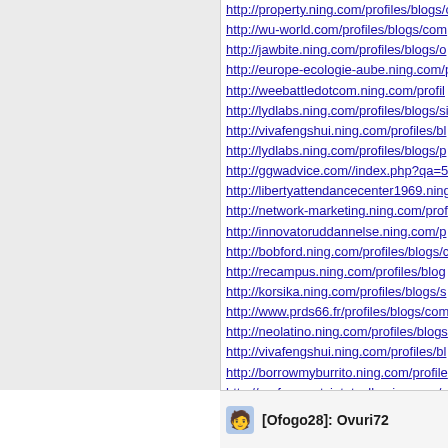http://property.ning.com/profiles/blogs/o
http://wu-world.com/profiles/blogs/com
http://jawbite.ning.com/profiles/blogs/o
http://europe-ecologie-aube.ning.com/p
http://weebattledotcom.ning.com/profil
http://lydlabs.ning.com/profiles/blogs/si
http://vivafengshui.ning.com/profiles/bl
http://lydlabs.ning.com/profiles/blogs/p
http://ggwadvice.com//index.php?qa=5
http://libertyattendancecenter1969.ning
http://network-marketing.ning.com/prof
http://innovatoruddannelse.ning.com/p
http://bobford.ning.com/profiles/blogs/c
http://recampus.ning.com/profiles/blog
http://korsika.ning.com/profiles/blogs/s
http://www.prds66.fr/profiles/blogs/com
http://neolatino.ning.com/profiles/blogs
http://vivafengshui.ning.com/profiles/bl
http://borrowmyburrito.ning.com/profile
http://professoratciutatvella.ning.com/p
http://adrenalineprovinggrounds.ning.c
http://newyorkundergroundradio.ning.c
http://bygda.traktor.no/profiles/blogs/sit
http://dctechnology.ning.com/profiles/b
[Ofogo28]: Ovuri72